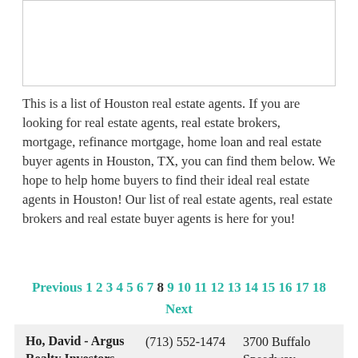[Figure (other): White rectangular image placeholder with light gray border]
This is a list of Houston real estate agents. If you are looking for real estate agents, real estate brokers, mortgage, refinance mortgage, home loan and real estate buyer agents in Houston, TX, you can find them below. We hope to help home buyers to find their ideal real estate agents in Houston! Our list of real estate agents, real estate brokers and real estate buyer agents is here for you!
Previous 1 2 3 4 5 6 7 8 9 10 11 12 13 14 15 16 17 18 Next
| Name | Phone | Address |
| --- | --- | --- |
| Ho, David - Argus Realty Investors | (713) 552-1474 | 3700 Buffalo Speedway, |